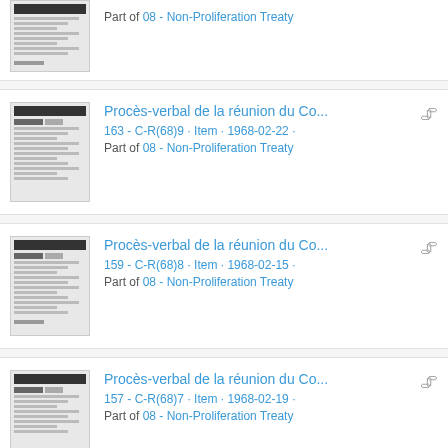Part of 08 - Non-Proliferation Treaty
Procès-verbal de la réunion du Co... | 163 - C-R(68)9 · Item · 1968-02-22 · Part of 08 - Non-Proliferation Treaty
Procès-verbal de la réunion du Co... | 159 - C-R(68)8 · Item · 1968-02-15 · Part of 08 - Non-Proliferation Treaty
Procès-verbal de la réunion du Co... | 157 - C-R(68)7 · Item · 1968-02-19 · Part of 08 - Non-Proliferation Treaty